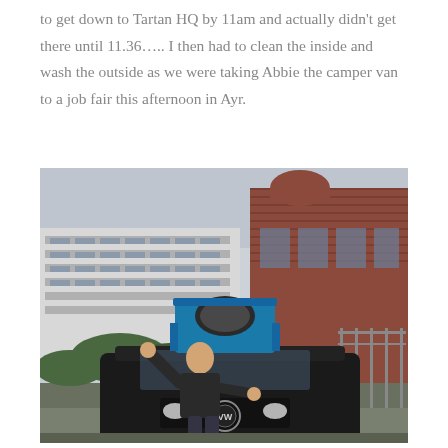to get down to Tartan HQ by 11am and actually didn't get there until 11.36….. I then had to clean the inside and wash the outside as we were taking Abbie the camper van to a job fair this afternoon in Ayr.
[Figure (photo): A bald man in a black jacket stands in front of a dark VW camper van with a blue pop-top roof raised, in front of a brick and glass industrial building on an overcast day.]